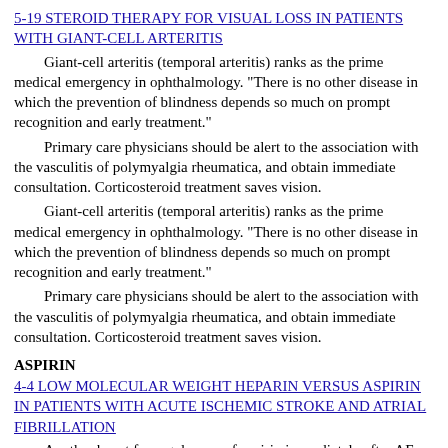5-19 STEROID THERAPY FOR VISUAL LOSS IN PATIENTS WITH GIANT-CELL ARTERITIS
Giant-cell arteritis (temporal arteritis) ranks as the prime medical emergency in ophthalmology. "There is no other disease in which the prevention of blindness depends so much on prompt recognition and early treatment."
Primary care physicians should be alert to the association with the vasculitis of polymyalgia rheumatica, and obtain immediate consultation. Corticosteroid treatment saves vision.
Giant-cell arteritis (temporal arteritis) ranks as the prime medical emergency in ophthalmology. "There is no other disease in which the prevention of blindness depends so much on prompt recognition and early treatment."
Primary care physicians should be alert to the association with the vasculitis of polymyalgia rheumatica, and obtain immediate consultation. Corticosteroid treatment saves vision.
ASPIRIN
4-4 LOW MOLECULAR WEIGHT HEPARIN VERSUS ASPIRIN IN PATIENTS WITH ACUTE ISCHEMIC STROKE AND ATRIAL FIBRILLATION
Another boost for regular use of aspirin immediately after AF-related embolic stroke and continued for 2 weeks. Just as beneficial as heparin and more acceptable, easier to use, and much cheaper.